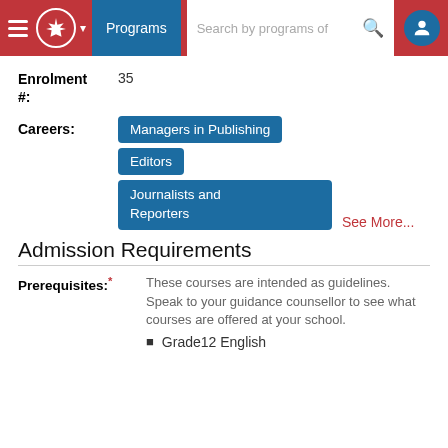Programs | Search by programs of
Enrolment #: 35
Careers: Managers in Publishing, Editors, Journalists and Reporters, See More...
Admission Requirements
Prerequisites:* These courses are intended as guidelines. Speak to your guidance counsellor to see what courses are offered at your school.
Grade12 English